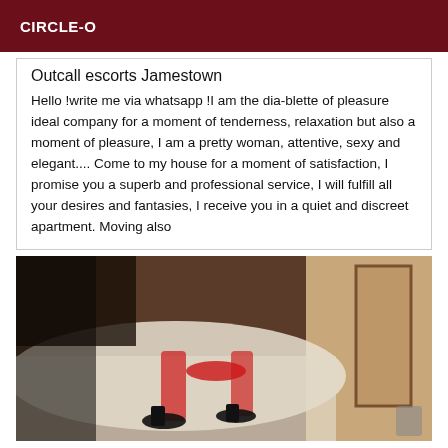CIRCLE-O
Outcall escorts Jamestown
Hello !write me via whatsapp !I am the dia-blette of pleasure ideal company for a moment of tenderness, relaxation but also a moment of pleasure, I am a pretty woman, attentive, sexy and elegant.... Come to my house for a moment of satisfaction, I promise you a superb and professional service, I will fulfill all your desires and fantasies, I receive you in a quiet and discreet apartment. Moving also
[Figure (photo): A photo showing a person's legs wearing high heels on a bed in a dimly lit room with a door visible in the background.]